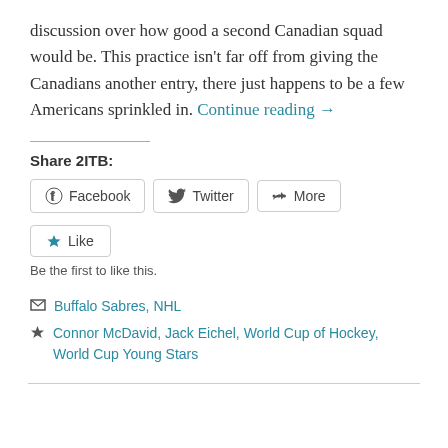discussion over how good a second Canadian squad would be. This practice isn't far off from giving the Canadians another entry, there just happens to be a few Americans sprinkled in. Continue reading →
Share 2ITB:
[Figure (other): Share buttons: Facebook, Twitter, More]
[Figure (other): Like button]
Be the first to like this.
Buffalo Sabres, NHL
Connor McDavid, Jack Eichel, World Cup of Hockey, World Cup Young Stars